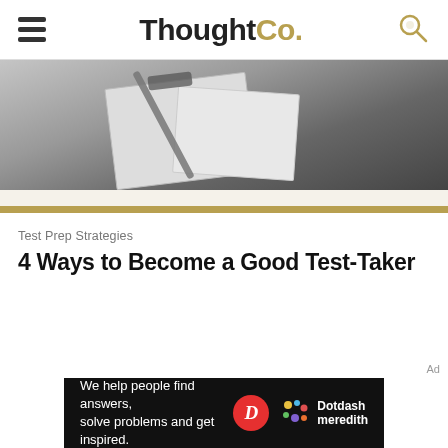ThoughtCo.
[Figure (photo): Close-up photo of papers/clipboard and a pen on a dark surface]
Test Prep Strategies
4 Ways to Become a Good Test-Taker
Ad
[Figure (infographic): Dotdash Meredith ad banner: 'We help people find answers, solve problems and get inspired.' with Dotdash Meredith logo]